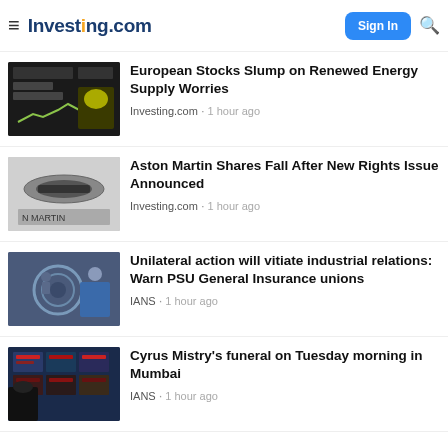Investing.com
European Stocks Slump on Renewed Energy Supply Worries
Investing.com · 1 hour ago
Aston Martin Shares Fall After New Rights Issue Announced
Investing.com · 1 hour ago
Unilateral action will vitiate industrial relations: Warn PSU General Insurance unions
IANS · 1 hour ago
Cyrus Mistry's funeral on Tuesday morning in Mumbai
IANS · 1 hour ago